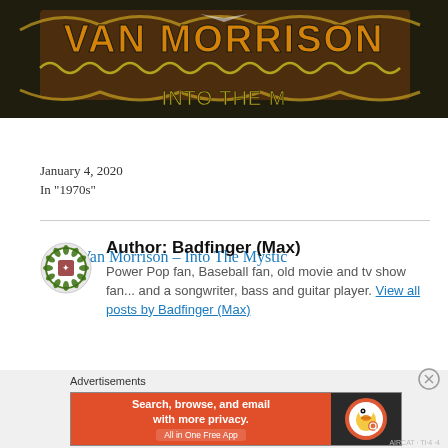[Figure (photo): Van Morrison – Into The Mystic album cover showing orange/yellow text 'VAN MORRISON' on a dark ornate background]
Van Morrison – Into The Mystic
January 4, 2020
In "1970s"
Author: Badfinger (Max)
Power Pop fan, Baseball fan, old movie and tv show fan... and a songwriter, bass and guitar player. View all posts by Badfinger (Max)
Advertisements
[Figure (screenshot): DuckDuckGo advertisement banner: 'Search, browse, and email with more privacy. All in One Free App' on orange background with DuckDuckGo logo on dark right panel]